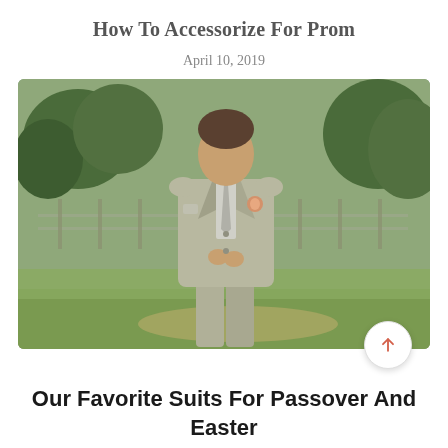How To Accessorize For Prom
April 10, 2019
[Figure (photo): A man in a light grey suit with a boutonniere, standing outdoors on a grassy area with trees and a fence in the background, adjusting his jacket buttons.]
Our Favorite Suits For Passover And Easter